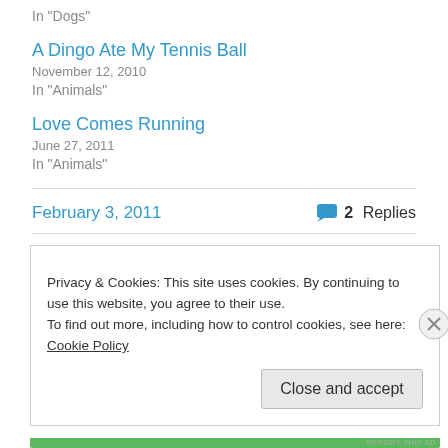In "Dogs"
A Dingo Ate My Tennis Ball
November 12, 2010
In "Animals"
Love Comes Running
June 27, 2011
In "Animals"
February 3, 2011
2 Replies
Privacy & Cookies: This site uses cookies. By continuing to use this website, you agree to their use.
To find out more, including how to control cookies, see here: Cookie Policy
Close and accept